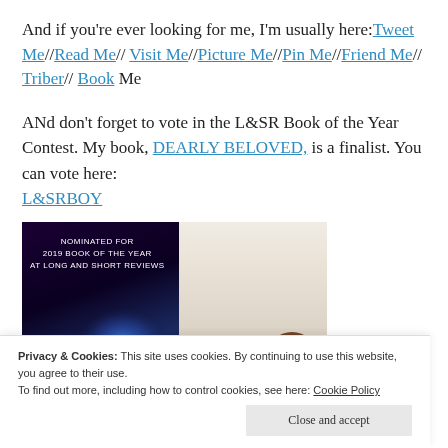And if you're ever looking for me, I'm usually here: Tweet Me // Read Me // Visit Me // Picture Me // Pin Me // Friend Me // Triber // Book Me
ANd don't forget to vote in the L&SR Book of the Year Contest. My book, DEARLY BELOVED, is a finalist. You can vote here: L&SRBOY
[Figure (illustration): Book award nomination banner: left side dark purple/black with sparkling lights and text 'Nominated for 2019 Book of the Year at Long and Short Reviews'; right side shows a bride in white dress holding red flowers]
Privacy & Cookies: This site uses cookies. By continuing to use this website, you agree to their use. To find out more, including how to control cookies, see here: Cookie Policy
Close and accept